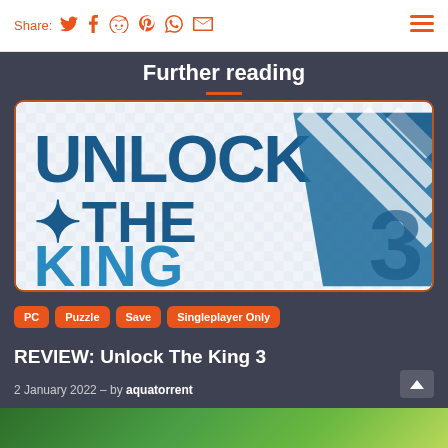Share: [Twitter] [Facebook] [Reddit] [Pinterest] [WhatsApp] [Email] [Menu]
Further reading
[Figure (logo): UNLOCK THE KING 3 game logo — large stylized blue text on a light background with diagonal stripe pattern]
PC
Puzzle
Save
Singleplayer Only
REVIEW: Unlock The King 3
2 January 2022  –  by aquatorrent
[Figure (photo): Partial bottom strip showing a green outdoor/nature scene]